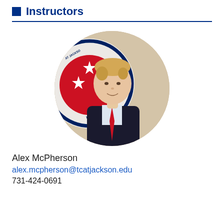Instructors
[Figure (photo): Circular portrait photo of Alex McPherson, a young man in a dark suit with a red tie, standing in front of a TCAT Jackson logo/seal with red and white stars on a circular emblem]
Alex McPherson
alex.mcpherson@tcatjackson.edu
731-424-0691